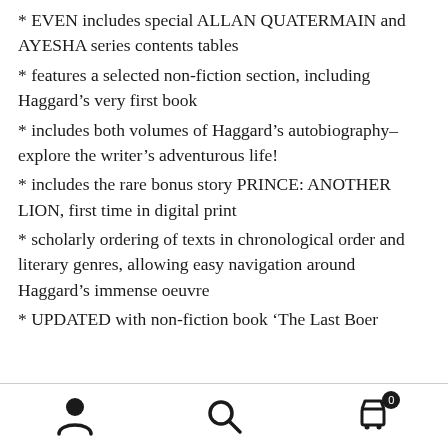* EVEN includes special ALLAN QUATERMAIN and AYESHA series contents tables
* features a selected non-fiction section, including Haggard’s very first book
* includes both volumes of Haggard’s autobiography– explore the writer’s adventurous life!
* includes the rare bonus story PRINCE: ANOTHER LION, first time in digital print
* scholarly ordering of texts in chronological order and literary genres, allowing easy navigation around Haggard’s immense oeuvre
* UPDATED with non-fiction book ‘The Last Boer
Navigation bar with person, search, and cart icons